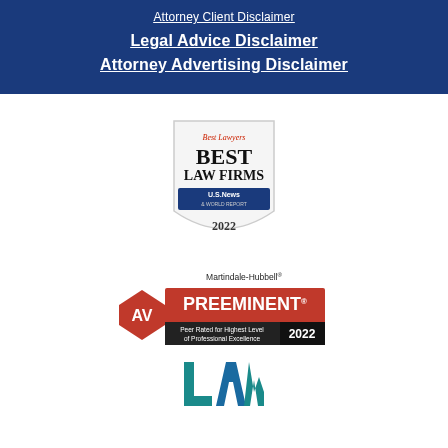Attorney Client Disclaimer
Legal Advice Disclaimer
Attorney Advertising Disclaimer
[Figure (logo): Best Lawyers BEST LAW FIRMS U.S. News & World Report 2022 badge/shield logo]
[Figure (logo): Martindale-Hubbell AV Preeminent Peer Rated for Highest Level of Professional Excellence 2022 badge]
[Figure (logo): LAW logo mark (partial, teal/blue colored letters)]